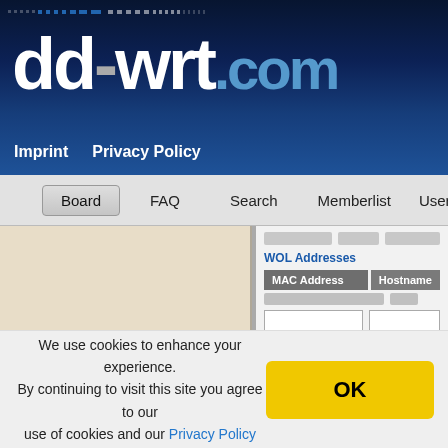[Figure (screenshot): dd-wrt.com website header with logo showing 'dd-wrt.com' in white and blue text on dark navy/blue gradient background]
Imprint   Privacy Policy
[Figure (screenshot): Forum navigation bar with Board, FAQ, Search, Memberlist, User buttons. Below: left sidebar with beige/tan background, and right panel showing WOL Addresses section with MAC Address and Hostname column headers, blurred data rows, input fields, and Manual WOL section with red border showing MAC Addresses field with '00:00:00:00:00:00' placeholder]
WOL Addresses
MAC Address   Hostname
Manual WOL
MAC Address(es)
00:00:00:00:00:00
We use cookies to enhance your experience. By continuing to visit this site you agree to our use of cookies and our Privacy Policy